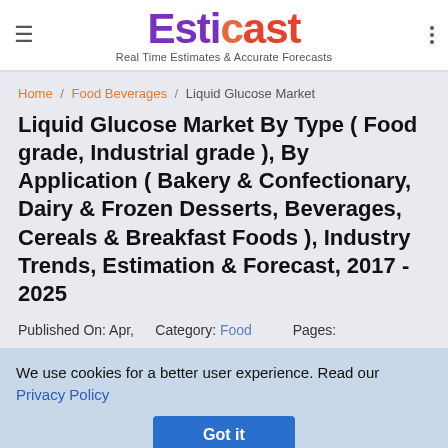Esticast — Real Time Estimates & Accurate Forecasts
Home / Food Beverages / Liquid Glucose Market
Liquid Glucose Market By Type ( Food grade, Industrial grade ), By Application ( Bakery & Confectionary, Dairy & Frozen Desserts, Beverages, Cereals & Breakfast Foods ), Industry Trends, Estimation & Forecast, 2017 - 2025
Published On: Apr,    Category: Food    Pages:
We use cookies for a better user experience. Read our Privacy Policy
Got it